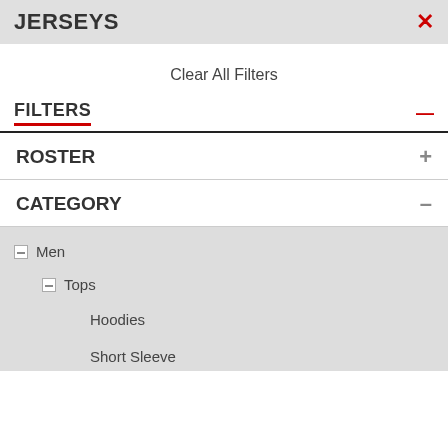JERSEYS
Clear All Filters
FILTERS
ROSTER
CATEGORY
Men
Tops
Hoodies
Short Sleeve